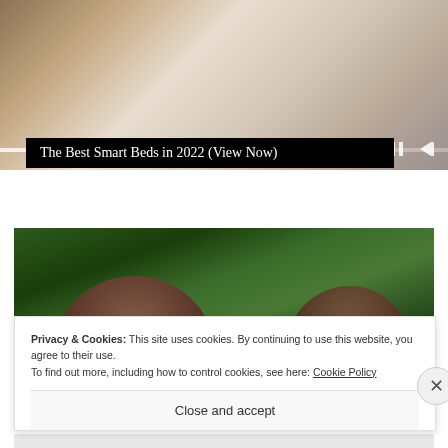[Figure (photo): Top portion of a smart bed/furniture advertisement image showing a cream-colored bed with storage drawers open, with media player controls and progress bar overlay at bottom]
The Best Smart Beds in 2022 (View Now)
[Figure (photo): Photo of a couple (man and woman) smiling outdoors with green foliage in background, partially obscured by a cookie consent overlay]
Privacy & Cookies: This site uses cookies. By continuing to use this website, you agree to their use.
To find out more, including how to control cookies, see here: Cookie Policy
Close and accept